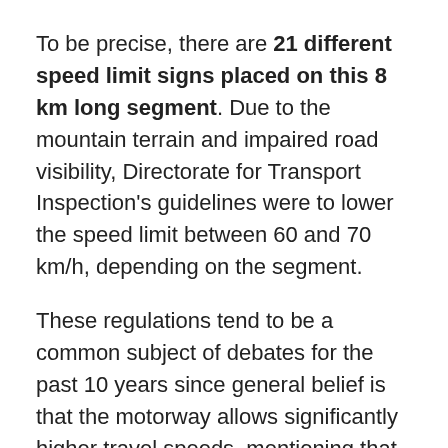To be precise, there are 21 different speed limit signs placed on this 8 km long segment. Due to the mountain terrain and impaired road visibility, Directorate for Transport Inspection's guidelines were to lower the speed limit between 60 and 70 km/h, depending on the segment.
These regulations tend to be a common subject of debates for the past 10 years since general belief is that the motorway allows significantly higher travel speeds, mentioning that the majority of the local population actually travels at speeds between 80 and 90 km/h.